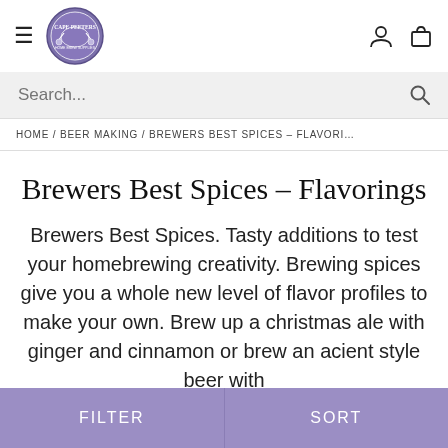[Figure (logo): Cape Peeters brewery logo — circular emblem with blue/purple colors]
HOME / BEER MAKING / BREWERS BEST SPICES – FLAVORINGS
Brewers Best Spices – Flavorings
Brewers Best Spices. Tasty additions to test your homebrewing creativity. Brewing spices give you a whole new level of flavor profiles to make your own. Brew up a christmas ale with ginger and cinnamon or brew an acient style beer with